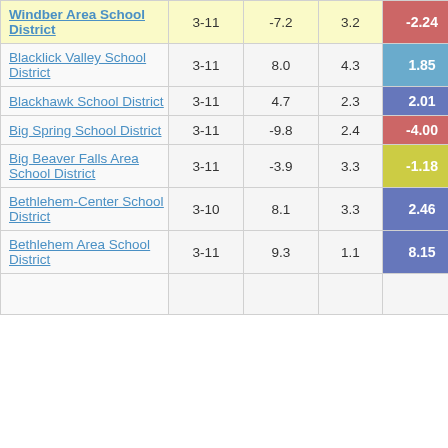| School District | Grades | Col3 | Col4 | Score | Cut |
| --- | --- | --- | --- | --- | --- |
| Windber Area School District | 3-11 | -7.2 | 3.2 | -2.24 | 5 |
| Blacklick Valley School District | 3-11 | 8.0 | 4.3 | 1.85 |  |
| Blackhawk School District | 3-11 | 4.7 | 2.3 | 2.01 |  |
| Big Spring School District | 3-11 | -9.8 | 2.4 | -4.00 |  |
| Big Beaver Falls Area School District | 3-11 | -3.9 | 3.3 | -1.18 |  |
| Bethlehem-Center School District | 3-10 | 8.1 | 3.3 | 2.46 |  |
| Bethlehem Area School District | 3-11 | 9.3 | 1.1 | 8.15 |  |